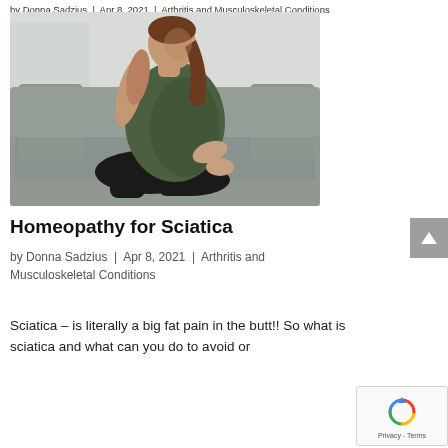by Donna Sadzius | Apr 8, 2021 | Arthritis and Musculoskeletal Conditions
[Figure (photo): Woman in green tank top and black leggings kneeling on a grey sofa, holding her lower back/hip area with one hand, suggesting back or sciatic pain.]
Homeopathy for Sciatica
by Donna Sadzius | Apr 8, 2021 | Arthritis and Musculoskeletal Conditions
Sciatica – is literally a big fat pain in the butt!! So what is sciatica and what can you do to avoid or